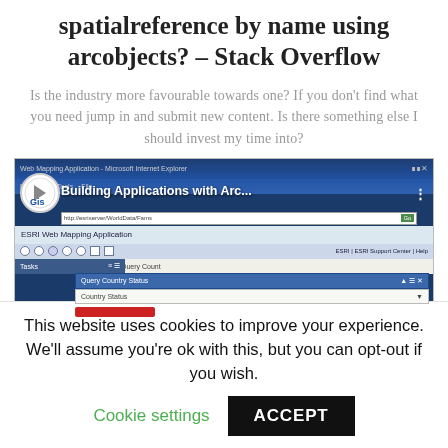spatialreference by name using arcobjects? – Stack Overflow
Is the industry more favourable towards one? If you don't find what you need jump in and submit new content. Is there something else I should invest my time into?
[Figure (screenshot): Screenshot of a Microsoft Internet Explorer window showing a GIS web mapping application with the title 'Building Applications with Arc...' and ESRI Web Mapping Application interface with Tasks panel and Query Country Status dropdown.]
This website uses cookies to improve your experience. We'll assume you're ok with this, but you can opt-out if you wish. Cookie settings ACCEPT